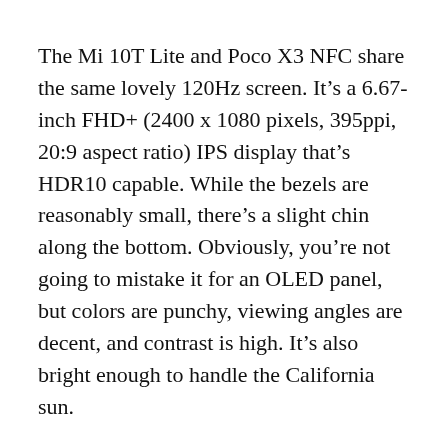The Mi 10T Lite and Poco X3 NFC share the same lovely 120Hz screen. It's a 6.67-inch FHD+ (2400 x 1080 pixels, 395ppi, 20:9 aspect ratio) IPS display that's HDR10 capable. While the bezels are reasonably small, there's a slight chin along the bottom. Obviously, you're not going to mistake it for an OLED panel, but colors are punchy, viewing angles are decent, and contrast is high. It's also bright enough to handle the California sun.
And while this is a quality screen, there's room for improvement. First, the auto-brightness is a bit weird. It often dims the display too much, especially when transitioning between indoor and outdoor lighting conditions. Second, there's noticeable visual jitter when scrolling text at 120Hz. While the Poco X3 NFC also exhibited this flaw, it's less obvious at 60Hz. Then again, I've never experienced this on any 120Hz OLED panels.